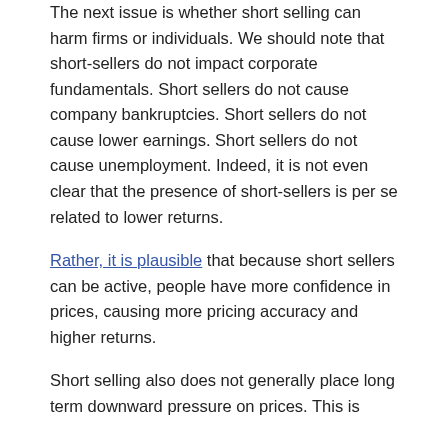The next issue is whether short selling can harm firms or individuals. We should note that short-sellers do not impact corporate fundamentals. Short sellers do not cause company bankruptcies. Short sellers do not cause lower earnings. Short sellers do not cause unemployment. Indeed, it is not even clear that the presence of short-sellers is per se related to lower returns.
Rather, it is plausible that because short sellers can be active, people have more confidence in prices, causing more pricing accuracy and higher returns.
Short selling also does not generally place long term downward pressure on prices. This is